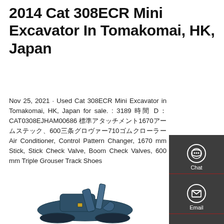2014 Cat 308ECR Mini Excavator In Tomakomai, HK, Japan
Nov 25, 2021 · Used Cat 308ECR Mini Excavator in Tomakomai, HK, Japan for sale. : 3189 時間 D： CAT0308EJHAM00686 標準アタッチメント1670アームステック、600三条グロヴァー710ゴムクローラー Air Conditioner, Control Pattern Changer, 1670 mm Stick, Stick Check Valve, Boom Check Valves, 600 mm Triple Grouser Track Shoes
[Figure (screenshot): Sidebar panel with Chat, Email, and Contact icons on dark background]
[Figure (photo): Partial view of a Cat 308ECR mini excavator at the bottom of the page]